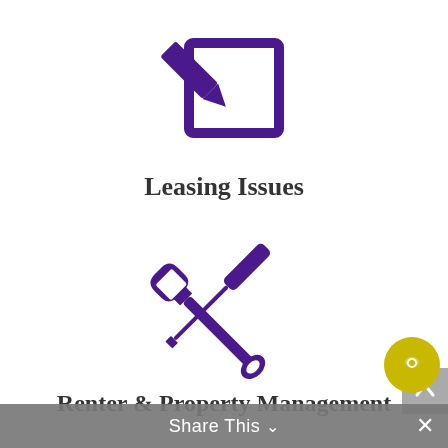[Figure (illustration): Purple pencil/pen icon writing on a document/square outline, representing leasing issues]
Leasing Issues
[Figure (illustration): Purple crossed wrench and screwdriver tools icon, representing renter and property management]
Renter & Property Management
[Figure (illustration): Purple dollar sign inside a circle, partially visible at bottom of page]
[Figure (illustration): Yellow/gold chat bubble button in bottom right corner]
Share This